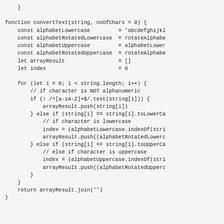Code snippet showing a convertText function in JavaScript